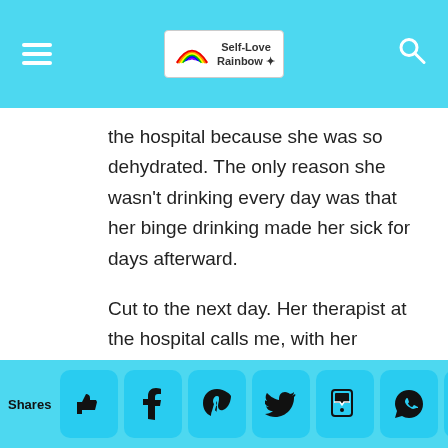Self-Love Rainbow — website header with navigation menu icon and search icon
the hospital because she was so dehydrated. The only reason she wasn't drinking every day was that her binge drinking made her sick for days afterward.

Cut to the next day. Her therapist at the hospital calls me, with her permission. We talk about trauma and issues. We talk about options. If I give her a safe
Shares — social share buttons: like, Facebook, Pinterest, Twitter, SMS, WhatsApp, crown